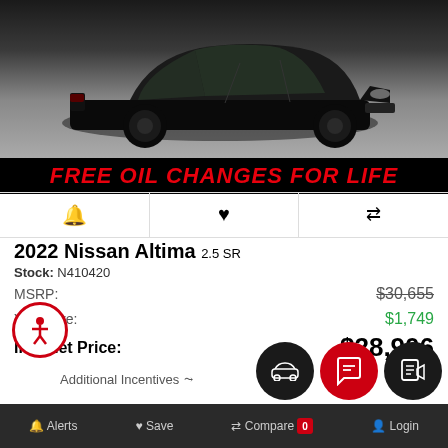[Figure (photo): Black Nissan Altima sedan photographed from front-right angle on gray pavement]
FREE OIL CHANGES FOR LIFE
2022 Nissan Altima 2.5 SR
Stock: N410420
MSRP: $30,655
You Save: $1,749
Internet Price: $28,906
Additional Incentives
Alerts  Save  Compare 0  Login